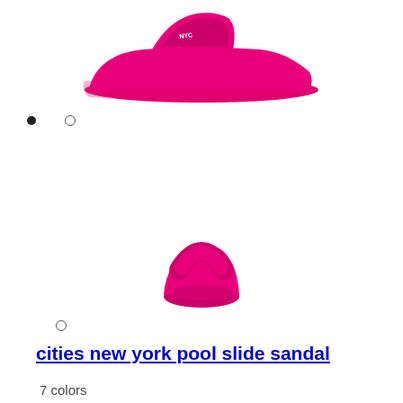[Figure (photo): Pink pool slide sandal viewed from the side/top angle, hot pink color with white logo on the strap]
[Figure (photo): Pink pool slide sandal viewed from the front/toe angle, hot pink color]
cities new york pool slide sandal
7 colors